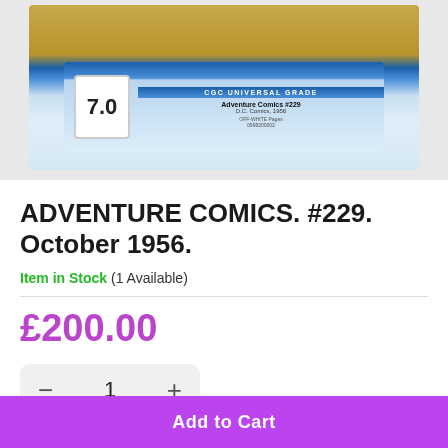[Figure (photo): CGC graded comic book in sealed case showing CGC Universal Grade label with score 7.0 for Adventure Comics #229, D.C. Comics, 1956]
ADVENTURE COMICS. #229. October 1956.
Item in Stock (1 Available)
£200.00
Add to Cart